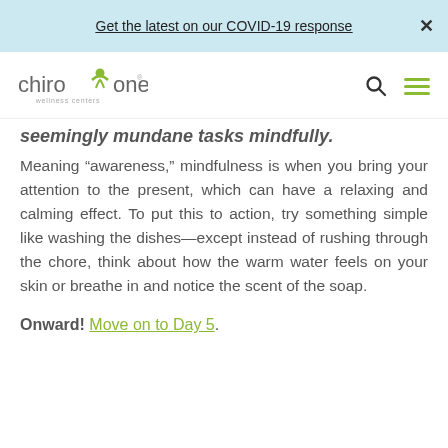Get the latest on our COVID-19 response
[Figure (logo): Chiro One Wellness Centers logo with green figure and text]
seemingly mundane tasks mindfully.
Meaning “awareness,” mindfulness is when you bring your attention to the present, which can have a relaxing and calming effect. To put this to action, try something simple like washing the dishes—except instead of rushing through the chore, think about how the warm water feels on your skin or breathe in and notice the scent of the soap.
Onward! Move on to Day 5.